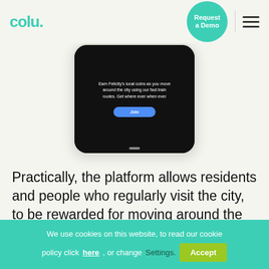[Figure (logo): Colu logo in teal/green color with a period after the text]
[Figure (screenshot): Smartphone screen showing a dark UI with text about earning local coins and a blue Join button]
Practically, the platform allows residents and people who regularly visit the city, to be rewarded for moving around the city and experiencing what it has to offer in ways that contribute to making it a better place
We use cookies on this website, to read our cookie policy click here, or change Settings. Accept